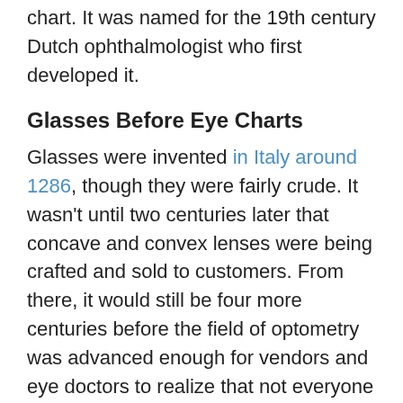chart. It was named for the 19th century Dutch ophthalmologist who first developed it.
Glasses Before Eye Charts
Glasses were invented in Italy around 1286, though they were fairly crude. It wasn't until two centuries later that concave and convex lenses were being crafted and sold to customers. From there, it would still be four more centuries before the field of optometry was advanced enough for vendors and eye doctors to realize that not everyone experiences vision problems the same way.
The History Of The Big E Chart
In the mid-19th century, various eye doctors began developing charts to gauge their patients' visual acuity more precisely, and in 1862, Hermann Snellen came up with the chart optometrists everywhere still use today. The chart, called the Snellen Eye Chart,